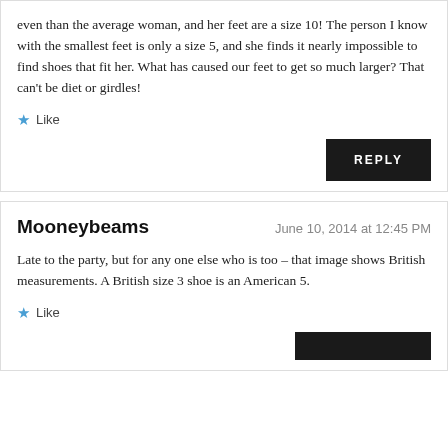even than the average woman, and her feet are a size 10! The person I know with the smallest feet is only a size 5, and she finds it nearly impossible to find shoes that fit her. What has caused our feet to get so much larger? That can't be diet or girdles!
Like
REPLY
Mooneybeams
June 10, 2014 at 12:45 PM
Late to the party, but for any one else who is too – that image shows British measurements. A British size 3 shoe is an American 5.
Like
REPLY